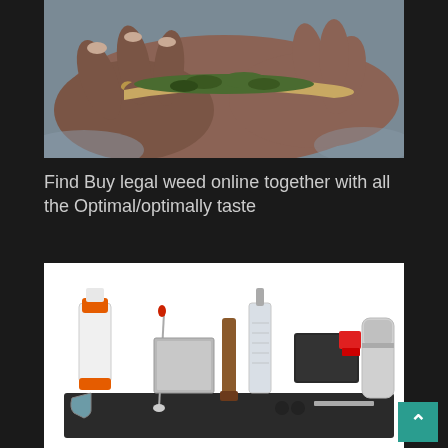[Figure (photo): Close-up photograph of hands rolling a cannabis joint/blunt, with visible green plant material and brown rolling paper, on a grey blurred background.]
Find Buy legal weed online together with all the Optimal/optimally taste
[Figure (photo): Product photo of various smoking and bar accessories on a white background including a white and orange bottle, metal jigger, mixing spoon, muddler, glass bottle with pour spout, black cigarette roller with red accents, small grinder, and other tools arranged on a dark mat.]